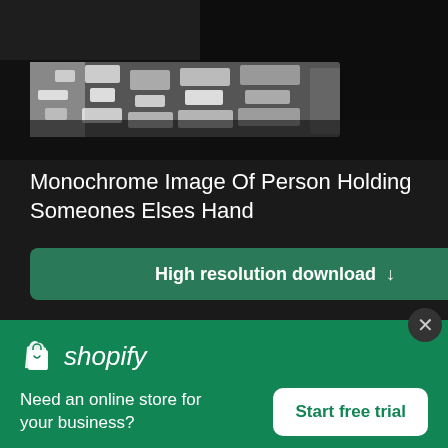[Figure (photo): Black and white monochrome photograph showing a close-up of a person holding someone else's hand, dark background with textured fabric visible]
Monochrome Image Of Person Holding Someones Elses Hand
High resolution download ↓
[Figure (logo): Shopify logo with shopping bag icon and italic wordmark]
Need an online store for your business?
Start free trial